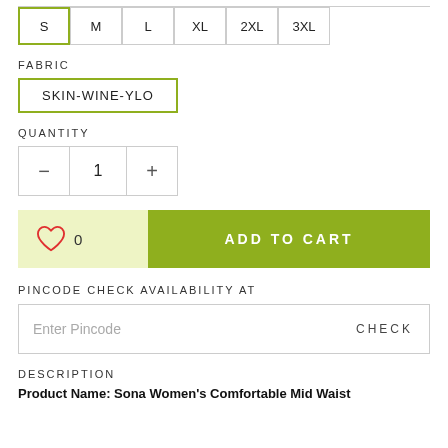| S | M | L | XL | 2XL | 3XL |
| --- | --- | --- | --- | --- | --- |
FABRIC
SKIN-WINE-YLO
QUANTITY
- 1 +
0  ADD TO CART
PINCODE CHECK AVAILABILITY AT
Enter Pincode   CHECK
DESCRIPTION
Product Name: Sona Women's Comfortable Mid Waist